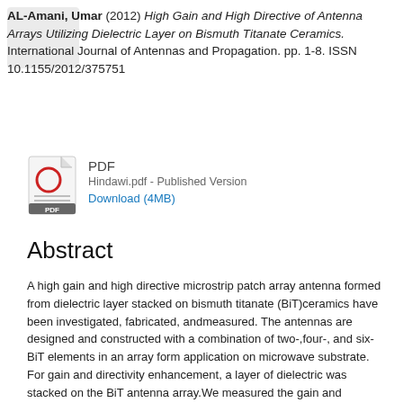AL-Amani, Umar (2012) High Gain and High Directive of Antenna Arrays Utilizing Dielectric Layer on Bismuth Titanate Ceramics. International Journal of Antennas and Propagation. pp. 1-8. ISSN 10.1155/2012/375751
[Figure (other): PDF file icon with red circle and 'PDF' label]
PDF
Hindawi.pdf - Published Version
Download (4MB)
Abstract
A high gain and high directive microstrip patch array antenna formed from dielectric layer stacked on bismuth titanate (BiT)ceramics have been investigated, fabricated, andmeasured. The antennas are designed and constructed with a combination of two-,four-, and six-BiT elements in an array form application on microwave substrate. For gain and directivity enhancement, a layer of dielectric was stacked on the BiT antenna array.We measured the gain and directivity of BiT array antennas with and without the dielectric layer and found that the gain of BiT array antenna with the dielectric